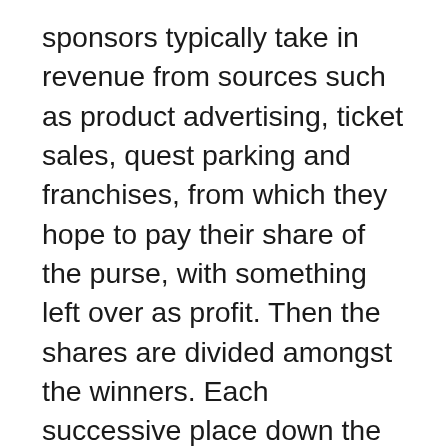sponsors typically take in revenue from sources such as product advertising, ticket sales, quest parking and franchises, from which they hope to pay their share of the purse, with something left over as profit. Then the shares are divided amongst the winners. Each successive place down the line receives a smaller piece of the pie. Typically, each golfer who makes the final tournament's cut earns some of the prize money. On the Champions Tour the champion receives 15 percent of the purse. In European Tour the winning player will reserve 16.67 percent of the purse. As of 2012, no regular tournament on the PGA Tour offers a purse of less than $1 million. The lowest-paying event on the official PGA Tour calendar is the ADT Skills Challenge, with a total purse of $800,000. Each of the four major tournaments, such as U.S. Open, Masters, British Open and PGA Championship --